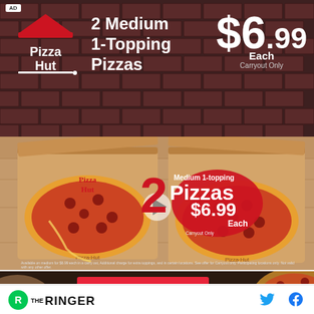[Figure (infographic): Pizza Hut advertisement banner with brick background showing Pizza Hut logo, '2 Medium 1-Topping Pizzas' deal text, and '$6.99 Each Carryout Only' price. Below is a photo of two open Pizza Hut boxes with pepperoni pizzas, overlay text '2 Medium 1-topping Pizzas $6.99 Each Carryout Only', fine print disclaimer, and an ORDER NOW red button. AD label in top-left corner.]
AD
2 Medium 1-Topping Pizzas
$6.99 Each Carryout Only
2 Medium 1-topping Pizzas $6.99 Each Carryout Only
ORDER NOW
[Figure (logo): The Ringer logo with green circle containing R, and THE RINGER text]
[Figure (logo): Twitter bird icon in blue]
[Figure (logo): Facebook f icon in blue]